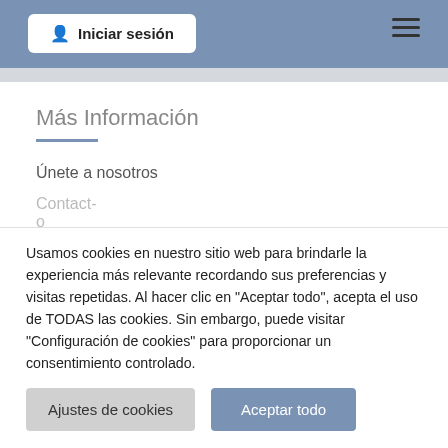Iniciar sesión
Más Información
Únete a nosotros
Usamos cookies en nuestro sitio web para brindarle la experiencia más relevante recordando sus preferencias y visitas repetidas. Al hacer clic en "Aceptar todo", acepta el uso de TODAS las cookies. Sin embargo, puede visitar "Configuración de cookies" para proporcionar un consentimiento controlado.
Ajustes de cookies
Aceptar todo